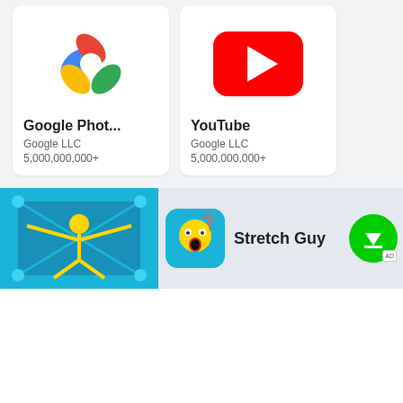[Figure (logo): Google Photos logo - colorful pinwheel with blue, red, yellow, green petals]
Google Phot...
Google LLC
5,000,000,000+
[Figure (logo): YouTube logo - red rounded rectangle with white play triangle]
YouTube
Google LLC
5,000,000,000+
[Figure (screenshot): Stretch Guy game banner - blue background with yellow stick figure being stretched, with app icon showing shocked face emoji and scissors]
Stretch Guy
Copyright © 2022 APKDownloadPC All rights reserved. DMCA Disclaimer Privacy Policy Terms of Use